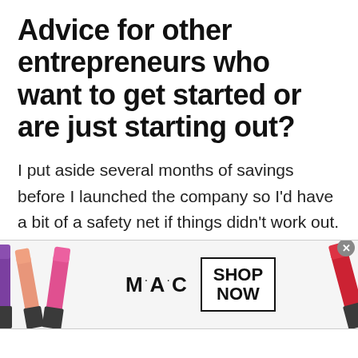Advice for other entrepreneurs who want to get started or are just starting out?
I put aside several months of savings before I launched the company so I'd have a bit of a safety net if things didn't work out. I'd highly recommend doing this, as it really allowed me to just focus and buckle down on the company in those early months without worrying about paying my bills. I'd also recommend examining your personal boundaries and limits. It's really easy to lose yourself in the frenzy of a new
[Figure (infographic): M·A·C cosmetics advertisement banner showing lipsticks on left and right sides, MAC logo in center, and a SHOP NOW button with a close X button in the top right corner.]